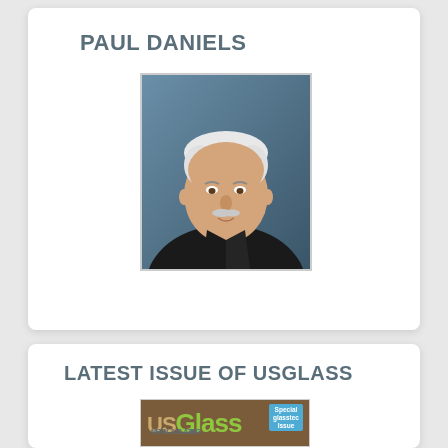PAUL DANIELS
[Figure (photo): Professional headshot of Paul Daniels, an older man with white hair and mustache, wearing a black suit and red tie, against a blue background.]
LATEST ISSUE OF USGLASS
[Figure (photo): Cover of USGlass Metal & Glazing magazine showing the logo with a Special glasstec Issue badge.]